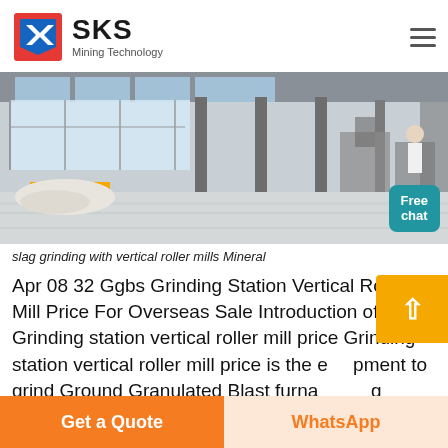[Figure (logo): SKS Mining Technology logo with red and blue geometric icon and company name]
[Figure (photo): Industrial factory/workshop interior with polished concrete floor, metal columns, large windows, machinery in background. Free chat button overlay in bottom-right corner.]
slag grinding with vertical roller mills Mineral
Apr 08 32 Ggbs Grinding Station Vertical Roller Mill Price For Overseas Sale Introduction of Grinding station vertical roller mill price Grinding station vertical roller mill price is the equipment to grind Ground Granulated Blast furnace Slag
[Figure (other): Scroll-to-top button with orange background and upward arrow]
Get a Quote
WhatsApp